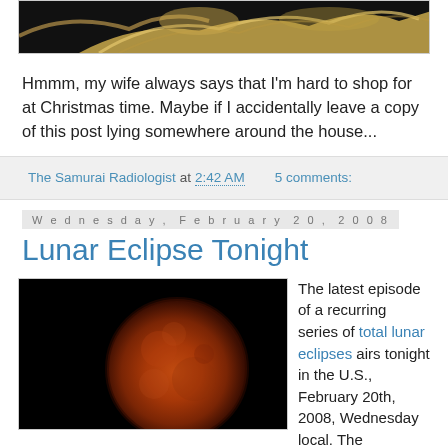[Figure (photo): Top portion of a decorative golden/bronze figurine or artifact against black background, partially cropped]
Hmmm, my wife always says that I'm hard to shop for at Christmas time. Maybe if I accidentally leave a copy of this post lying somewhere around the house...
The Samurai Radiologist at 2:42 AM    5 comments:
Wednesday, February 20, 2008
Lunar Eclipse Tonight
[Figure (photo): Photo of a blood red lunar eclipse — the moon appears large and reddish-orange against a black sky]
The latest episode of a recurring series of total lunar eclipses airs tonight in the U.S., February 20th, 2008, Wednesday local. The